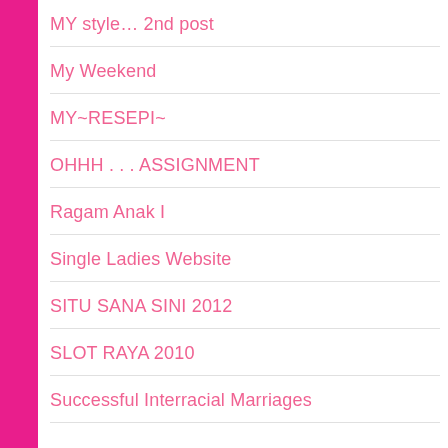MY style… 2nd post
My Weekend
MY~RESEPI~
OHHH . . . ASSIGNMENT
Ragam Anak I
Single Ladies Website
SITU SANA SINI 2012
SLOT RAYA 2010
Successful Interracial Marriages